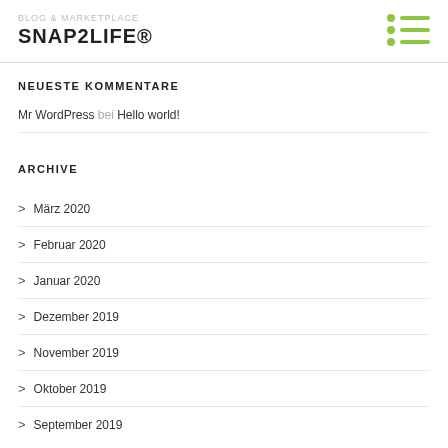SNAP2LIFE®
NEUESTE KOMMENTARE
Mr WordPress bei Hello world!
ARCHIVE
> März 2020
> Februar 2020
> Januar 2020
> Dezember 2019
> November 2019
> Oktober 2019
> September 2019